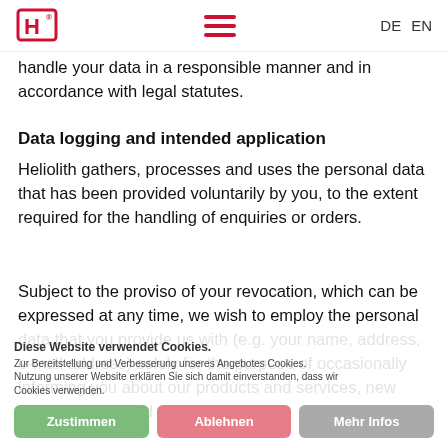Heliolith logo | hamburger menu | DE EN
handle your data in a responsible manner and in accordance with legal statutes.
Data logging and intended application
Heliolith gathers, processes and uses the personal data that has been provided voluntarily by you, to the extent required for the handling of enquiries or orders.
Subject to the proviso of your revocation, which can be expressed at any time, we wish to employ the personal data that you provide us with (e.g. your name, address, e-mail address) solely for the purpose of occasionally informing you about our products and services, new developments and company reports.
Diese Website verwendet Cookies. Zur Bereitstellung und Verbesserung unseres Angebotes Cookies. Nutzung unserer Website erklären Sie sich damit einverstanden, dass wir Cookies verwenden.
Zustimmen | Ablehnen | Mehr Infos